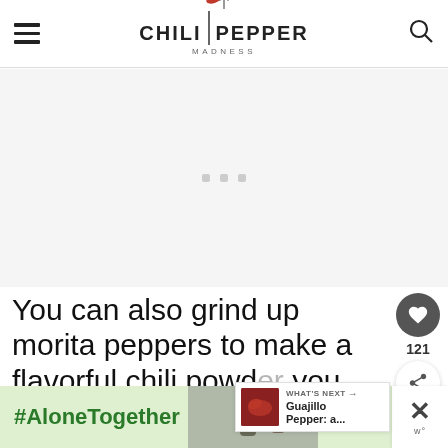Chili Pepper Madness
[Figure (other): Advertisement placeholder area with three small grey dots]
You can also grind up morita peppers to make a flavorful chili powder you can use as a general seasoning, a ru[b], st[eak]...
[Figure (other): WHAT'S NEXT callout with red pepper image and text: Guajillo Pepper: a...]
[Figure (other): Bottom advertisement banner with #AloneTogether text and photo of people, with close buttons]